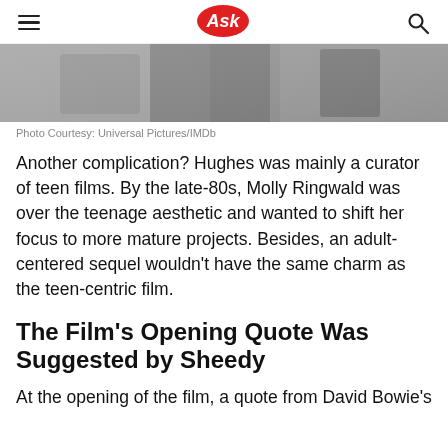Ask
[Figure (photo): Black and white photo strip showing partial figures, cropped]
Photo Courtesy: Universal Pictures/IMDb
Another complication? Hughes was mainly a curator of teen films. By the late-80s, Molly Ringwald was over the teenage aesthetic and wanted to shift her focus to more mature projects. Besides, an adult-centered sequel wouldn't have the same charm as the teen-centric film.
The Film's Opening Quote Was Suggested by Sheedy
At the opening of the film, a quote from David Bowie's